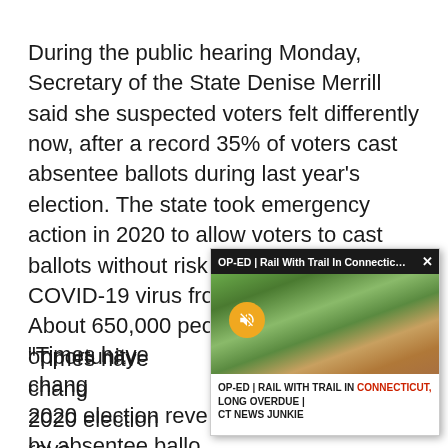During the public hearing Monday, Secretary of the State Denise Merrill said she suspected voters felt differently now, after a record 35% of voters cast absentee ballots during last year's election. The state took emergency action in 2020 to allow voters to cast ballots without risk of contracting the COVID-19 virus from other voters. About 650,000 people took the opportunity.
“Times have changed. The 2020 election revealed that absentee ballots... think they enjoyed...
[Figure (screenshot): Pop-up video overlay showing a rail trail in Connecticut. Top bar reads 'OP-ED | Rail With Trail In Connectic... X'. Video thumbnail shows a forested rail trail. Mute button (orange circle with mute icon) visible. Caption bar reads 'OP-ED | RAIL WITH TRAIL IN CONNECTICUT, LONG OVERDUE | CT NEWS JUNKIE' with CONNECTICUT in red.]